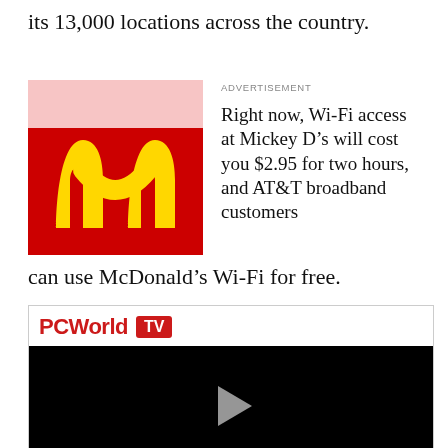its 13,000 locations across the country.
[Figure (logo): McDonald's golden arches logo on red and pink background]
ADVERTISEMENT

Right now, Wi-Fi access at Mickey D’s will cost you $2.95 for two hours, and AT&T broadband customers can use McDonald’s Wi-Fi for free.
[Figure (screenshot): PCWorld TV video player with black background and play button]